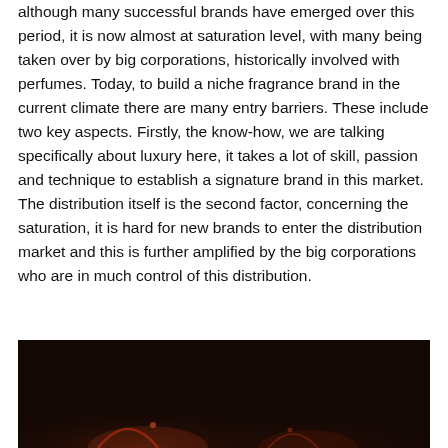although many successful brands have emerged over this period, it is now almost at saturation level, with many being taken over by big corporations, historically involved with perfumes. Today, to build a niche fragrance brand in the current climate there are many entry barriers. These include two key aspects. Firstly, the know-how, we are talking specifically about luxury here, it takes a lot of skill, passion and technique to establish a signature brand in this market. The distribution itself is the second factor, concerning the saturation, it is hard for new brands to enter the distribution market and this is further amplified by the big corporations who are in much control of this distribution.
[Figure (photo): Dark photograph with a dark brown/black background, partial view of objects at bottom, seemingly a fragrance or luxury product shoot.]